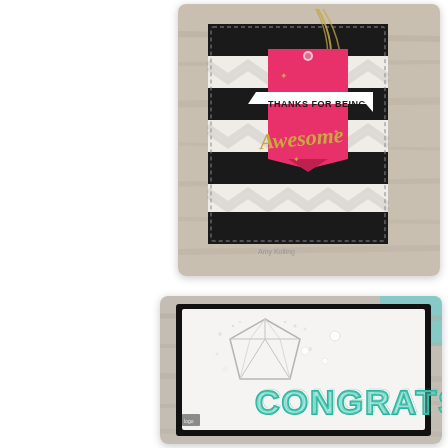[Figure (photo): Handmade greeting card with black and white horizontal stripes, a pink tag with gold string, a white banner reading 'THANKS FOR BEING', and gold cursive 'Awesome' text. Small gold star embellishments on pink tag. Photographed on a light wood background. Watermark 'Amy Kolling' visible.]
[Figure (photo): Handmade congratulations card with a white panel on black card base, featuring a die-cut diamond/gem outline, scattered pearl embellishments, and large teal/mint block letters spelling 'CONGRATS'. Photographed on a light wood background with teal visible in corner. Small logo/watermark in lower left.]